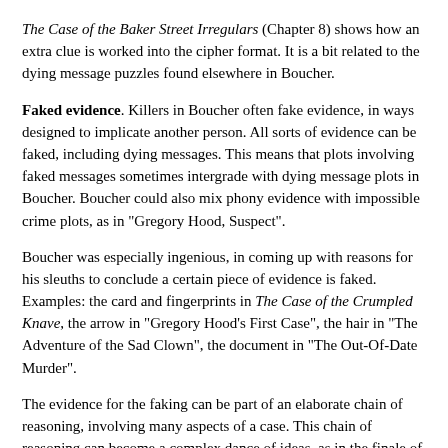The Case of the Baker Street Irregulars (Chapter 8) shows how an extra clue is worked into the cipher format. It is a bit related to the dying message puzzles found elsewhere in Boucher.
Faked evidence. Killers in Boucher often fake evidence, in ways designed to implicate another person. All sorts of evidence can be faked, including dying messages. This means that plots involving faked messages sometimes intergrade with dying message plots in Boucher. Boucher could also mix phony evidence with impossible crime plots, as in "Gregory Hood, Suspect".
Boucher was especially ingenious, in coming up with reasons for his sleuths to conclude a certain piece of evidence is faked. Examples: the card and fingerprints in The Case of the Crumpled Knave, the arrow in "Gregory Hood's First Case", the hair in "The Adventure of the Sad Clown", the document in "The Out-Of-Date Murder".
The evidence for the faking can be part of an elaborate chain of reasoning, involving many aspects of a case. This chain of reasoning can become a complex dance of ideas, as in the finale of The Case of the Crumpled Knave, or the solution to "Screwball Division". The finale of "Murder Beyond the Mountains" involves meta-level reasoning about some faked evidence, linked to a second deduction identifying the killer. The mere fact that evidence